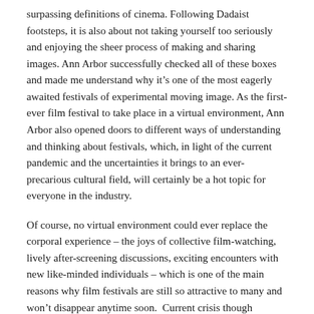surpassing definitions of cinema. Following Dadaist footsteps, it is also about not taking yourself too seriously and enjoying the sheer process of making and sharing images. Ann Arbor successfully checked all of these boxes and made me understand why it's one of the most eagerly awaited festivals of experimental moving image. As the first-ever film festival to take place in a virtual environment, Ann Arbor also opened doors to different ways of understanding and thinking about festivals, which, in light of the current pandemic and the uncertainties it brings to an ever-precarious cultural field, will certainly be a hot topic for everyone in the industry.
Of course, no virtual environment could ever replace the corporal experience – the joys of collective film-watching, lively after-screening discussions, exciting encounters with new like-minded individuals – which is one of the main reasons why film festivals are still so attractive to many and won't disappear anytime soon. Current crisis though sparked numerous archives, festivals, cinemas and distributors of independent and